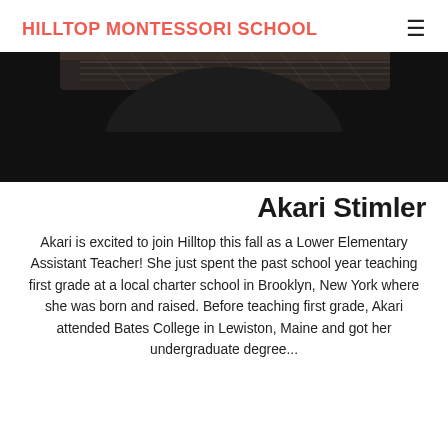HILLTOP MONTESSORI SCHOOL
[Figure (photo): Close-up photo of a person wearing a black top with hat, showing the top portion of a head with a decorative hat brim visible at the top.]
Akari Stimler
Akari is excited to join Hilltop this fall as a Lower Elementary Assistant Teacher! She just spent the past school year teaching first grade at a local charter school in Brooklyn, New York where she was born and raised. Before teaching first grade, Akari attended Bates College in Lewiston, Maine and got her undergraduate degree...